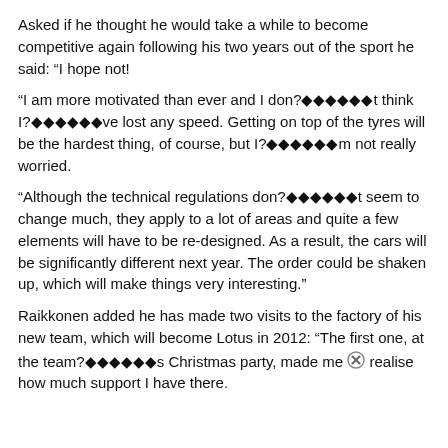Asked if he thought he would take a while to become competitive again following his two years out of the sport he said: “I hope not!
“I am more motivated than ever and I don?◆◆◆◆◆◆t think I?◆◆◆◆◆◆ve lost any speed. Getting on top of the tyres will be the hardest thing, of course, but I?◆◆◆◆◆m not really worried.
“Although the technical regulations don?◆◆◆◆◆◆t seem to change much, they apply to a lot of areas and quite a few elements will have to be re-designed. As a result, the cars will be significantly different next year. The order could be shaken up, which will make things very interesting.”
Raikkonen added he has made two visits to the factory of his new team, which will become Lotus in 2012: “The first one, at the team?◆◆◆◆◆◆s Christmas party, made me realise how much support I have there.